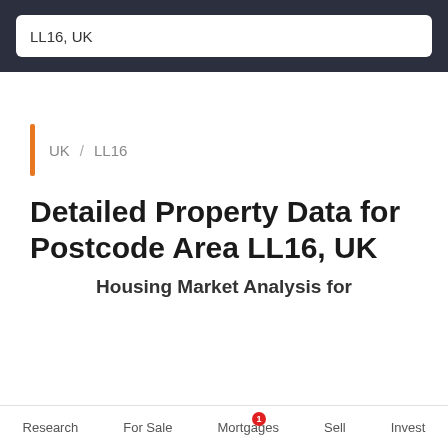LL16, UK
UK / LL16
Detailed Property Data for Postcode Area LL16, UK
Housing Market Analysis for
Research   For Sale   Mortgages   Sell   Invest